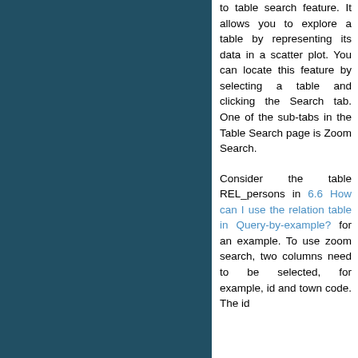to table search feature. It allows you to explore a table by representing its data in a scatter plot. You can locate this feature by selecting a table and clicking the Search tab. One of the sub-tabs in the Table Search page is Zoom Search.
Consider the table REL_persons in 6.6 How can I use the relation table in Query-by-example? for an example. To use zoom search, two columns need to be selected, for example, id and town code. The id